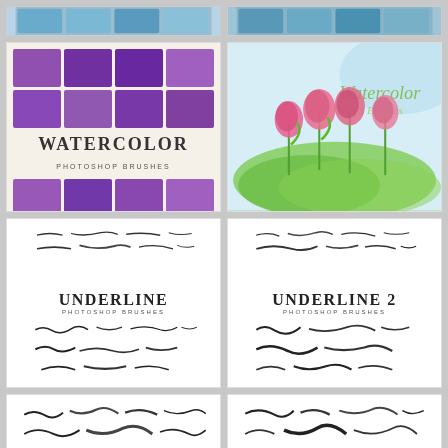[Figure (illustration): Top strip showing partial brush preview thumbnails - blue/teal tones]
[Figure (illustration): Top strip showing partial brush preview thumbnails - blue/teal tones right side]
[Figure (illustration): Watercolor Photoshop Brushes pack showing purple watercolor texture thumbnails in a grid with label WATERCOLOR PHOTOSHOP BRUSHES]
[Figure (illustration): Watercolor PS Brushes pack showing pink tulip flowers on green grass watercolor painting with text Watercolor PS Brushes]
[Figure (illustration): Underline Photoshop Brushes pack showing various hand-drawn underline brush strokes, labeled UNDERLINE PHOTOSHOP BRUSHES]
[Figure (illustration): Underline 2 Photoshop Brushes pack showing various hand-drawn underline brush strokes, labeled UNDERLINE 2 PHOTOSHOP BRUSHES]
[Figure (illustration): Underline 3 Photoshop Brushes pack showing various hand-drawn underline brush strokes, labeled UNDERLINE 3 PHOTOSHOP BRUSHES]
[Figure (illustration): Underline 4 Photoshop Brushes pack showing various hand-drawn underline brush strokes, labeled UNDERLINE 4 PHOTOSHOP BRUSHES]